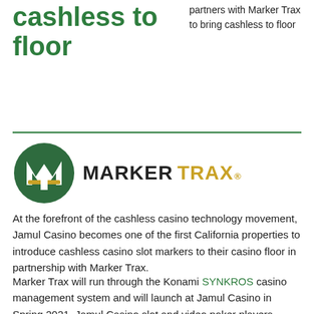cashless to floor
partners with Marker Trax to bring cashless to floor
[Figure (logo): Marker Trax logo: green circle with white M and T letters and gold horizontal bar, next to MARKER TRAX text in dark and gold colors]
At the forefront of the cashless casino technology movement, Jamul Casino becomes one of the first California properties to introduce cashless casino slot markers to their casino floor in partnership with Marker Trax.
Marker Trax will run through the Konami SYNKROS casino management system and will launch at Jamul Casino in Spring 2021. Jamul Casino slot and video poker players